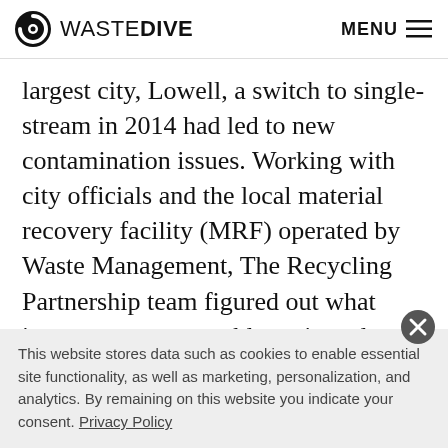WASTE DIVE | MENU
largest city, Lowell, a switch to single-stream in 2014 had led to new contamination issues. Working with city officials and the local material recovery facility (MRF) operated by Waste Management, The Recycling Partnership team figured out what items were most problematic and where they were coming from.
“Contamination is costing the system money
This website stores data such as cookies to enable essential site functionality, as well as marketing, personalization, and analytics. By remaining on this website you indicate your consent. Privacy Policy